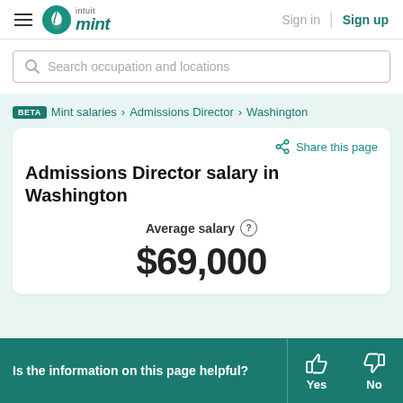[Figure (logo): Intuit Mint logo with hamburger menu, Sign in and Sign up links]
[Figure (screenshot): Search bar with placeholder text 'Search occupation and locations']
BETA  Mint salaries > Admissions Director > Washington
Share this page
Admissions Director salary in Washington
Average salary
$69,000
Is the information on this page helpful?
Yes
No